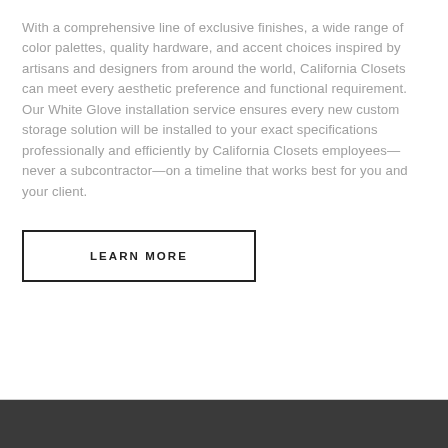With a comprehensive line of exclusive finishes, a wide range of color palettes, quality hardware, and accent choices inspired by artisans and designers from around the world, California Closets can meet every aesthetic preference and functional requirement. Our White Glove installation service ensures every new custom storage solution will be installed to your exact specifications professionally and efficiently by California Closets employees—never a subcontractor—on a timeline that works best for you and your client.
LEARN MORE